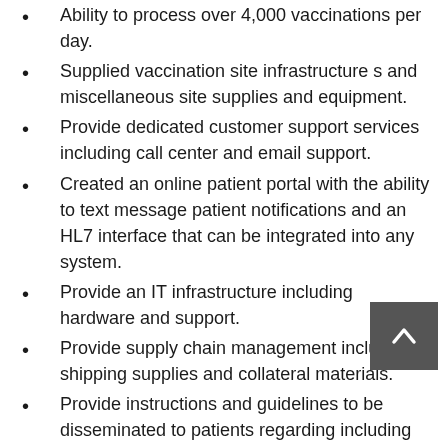Ability to process over 4,000 vaccinations per day.
Supplied vaccination site infrastructure s and miscellaneous site supplies and equipment.
Provide dedicated customer support services including call center and email support.
Created an online patient portal with the ability to text message patient notifications and an HL7 interface that can be integrated into any system.
Provide an IT infrastructure including hardware and support.
Provide supply chain management including shipping supplies and collateral materials.
Provide instructions and guidelines to be disseminated to patients regarding including V-Safe and CDC regulated forms.